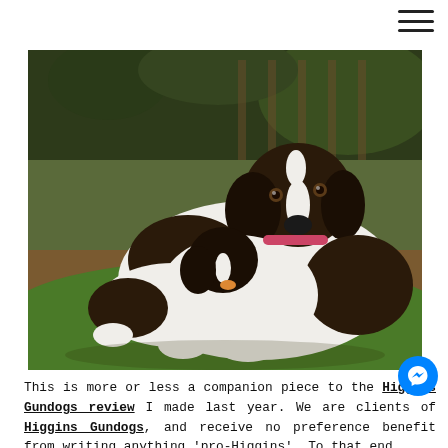☰ (menu icon)
[Figure (photo): A large black-and-white Springer Spaniel dog lying on green grass outdoors, with a small puppy of the same breed nuzzling against the adult dog's neck/chin area. The background shows a wooden fence and green foliage/trees. The adult dog has a white and dark brown coat with a white blaze on its nose, and is wearing a collar. The puppy is smaller with similar coloring.]
This is more or less a companion piece to the Higgins Gundogs review I made last year. We are clients of Higgins Gundogs, and receive no preference benefit from writing anything 'pro-Higgins'. To that end